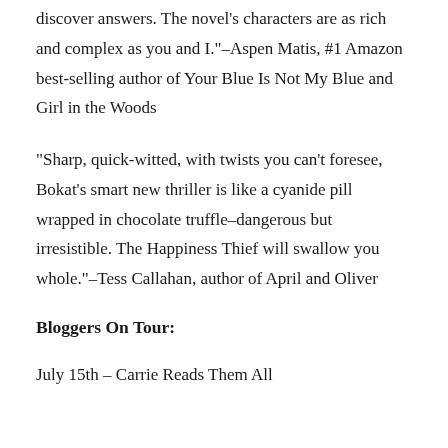discover answers. The novel’s characters are as rich and complex as you and I.”–Aspen Matis, #1 Amazon best-selling author of Your Blue Is Not My Blue and Girl in the Woods
“Sharp, quick-witted, with twists you can’t foresee, Bokat’s smart new thriller is like a cyanide pill wrapped in chocolate truffle–dangerous but irresistible. The Happiness Thief will swallow you whole.”–Tess Callahan, author of April and Oliver
Bloggers On Tour:
July 15th – Carrie Reads Them All